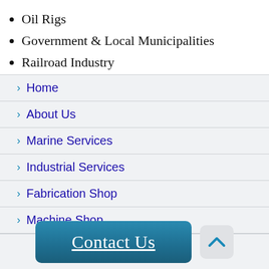Oil Rigs
Government & Local Municipalities
Railroad Industry
› Home
› About Us
› Marine Services
› Industrial Services
› Fabrication Shop
› Machine Shop
Contact Us